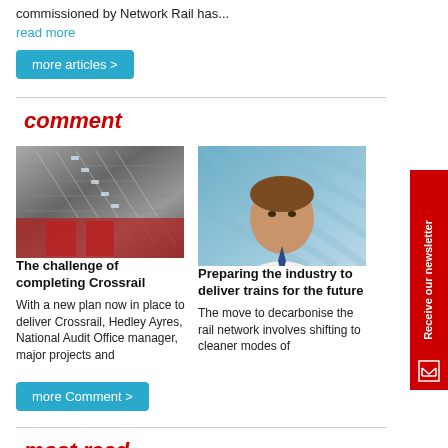commissioned by Network Rail has...
read more
more articles >
comment
[Figure (photo): Escalator in a rail station with red-uniformed workers at the bottom]
[Figure (photo): Portrait of a man in a white shirt and blue tie, against a glass lattice background]
The challenge of completing Crossrail
Preparing the industry to deliver trains for the future
With a new plan now in place to deliver Crossrail, Hedley Ayres, National Audit Office manager, major projects and
The move to decarbonise the rail network involves shifting to cleaner modes of
more Comment >
most read
[Figure (photo): Rail infrastructure image]
Major £1.2bn East Coast Main Line